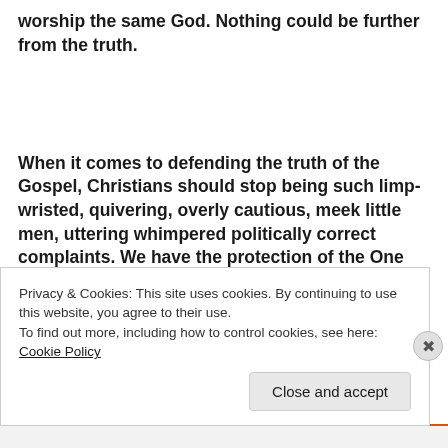worship the same God. Nothing could be further from the truth.
When it comes to defending the truth of the Gospel, Christians should stop being such limp-wristed, quivering, overly cautious, meek little men, uttering whimpered politically correct complaints. We have the protection of the One Almighty Omnipotent Father God, we partake in the nature of the bravest of Sons ever to walk the earth
Privacy & Cookies: This site uses cookies. By continuing to use this website, you agree to their use.
To find out more, including how to control cookies, see here: Cookie Policy
Close and accept